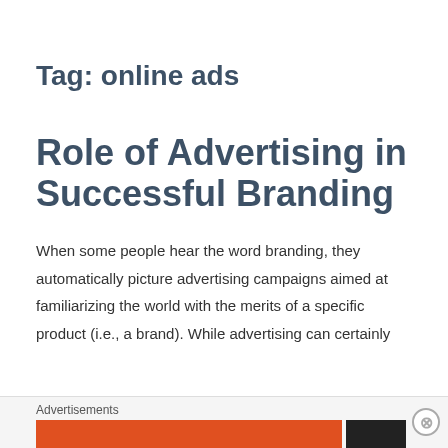Tag: online ads
Role of Advertising in Successful Branding
When some people hear the word branding, they automatically picture advertising campaigns aimed at familiarizing the world with the merits of a specific product (i.e., a brand).  While advertising can certainly
Advertisements